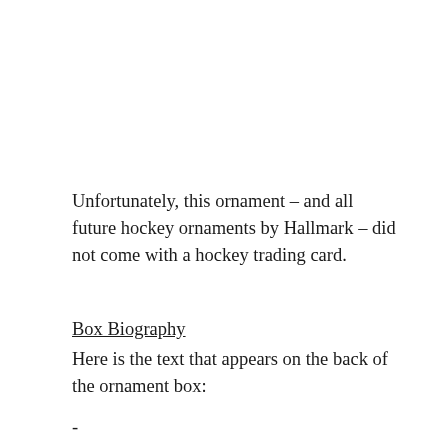Unfortunately, this ornament – and all future hockey ornaments by Hallmark – did not come with a hockey trading card.
Box Biography
Here is the text that appears on the back of the ornament box:
-